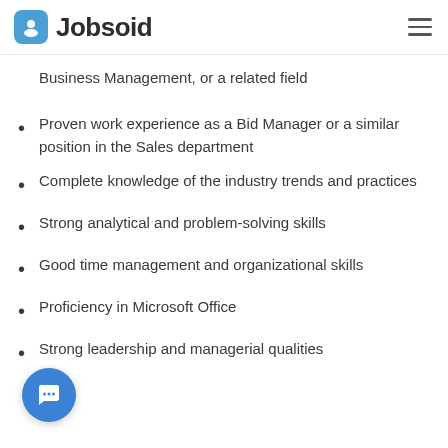Jobsoid
Business Management, or a related field
Proven work experience as a Bid Manager or a similar position in the Sales department
Complete knowledge of the industry trends and practices
Strong analytical and problem-solving skills
Good time management and organizational skills
Proficiency in Microsoft Office
Strong leadership and managerial qualities